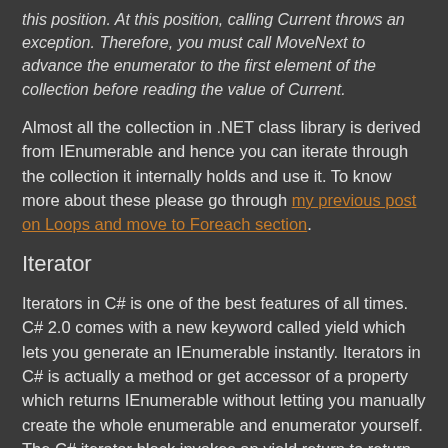this position. At this position, calling Current throws an exception. Therefore, you must call MoveNext to advance the enumerator to the first element of the collection before reading the value of Current.
Almost all the collection in .NET class library is derived from IEnumerable and hence you can iterate through the collection it internally holds and use it. To know more about these please go through my previous post on Loops and move to Foreach section.
Iterator
Iterators in C# is one of the best features of all times. C# 2.0 comes with a new keyword called yield which lets you generate an IEnumerable instantly. Iterators in C# is actually a method or get accessor of a property which returns IEnumerable without letting you manually create the whole enumerable and enumerator yourself. The C# iterator block invokes an yield return to return each individual element of the block and yield break to end the enumerator. The return type of the iterator method is IEnumerable or IEnumerator